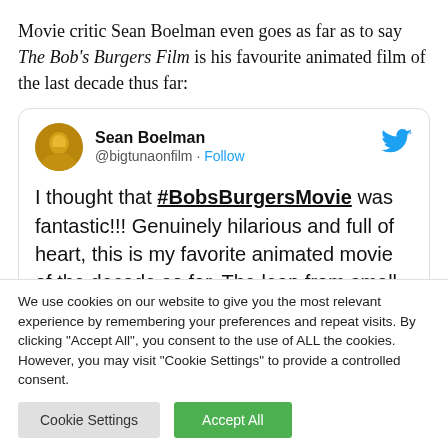Movie critic Sean Boelman even goes as far as to say The Bob's Burgers Film is his favourite animated film of the last decade thus far:
[Figure (screenshot): Embedded tweet from @bigtunaonfilm (Sean Boelman) with Twitter bird icon, avatar, name, handle with Follow link, and tweet text: 'I thought that #BobsBurgersMovie was fantastic!!! Genuinely hilarious and full of heart, this is my favorite animated movie of the decade so far. The leap from small']
We use cookies on our website to give you the most relevant experience by remembering your preferences and repeat visits. By clicking "Accept All", you consent to the use of ALL the cookies. However, you may visit "Cookie Settings" to provide a controlled consent.
Cookie Settings
Accept All